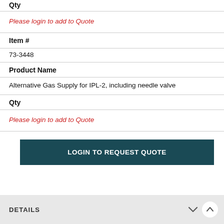Qty
Please login to add to Quote
Item #
73-3448
Product Name
Alternative Gas Supply for IPL-2, including needle valve
Qty
Please login to add to Quote
LOGIN TO REQUEST QUOTE
DETAILS